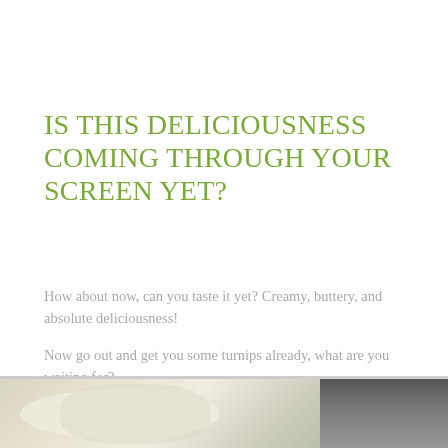IS THIS DELICIOUSNESS COMING THROUGH YOUR SCREEN YET?
How about now, can you taste it yet? Creamy, buttery, and absolute deliciousness!
Now go out and get you some turnips already, what are you waiting for?
[Figure (photo): Partial photo at bottom of page showing a creamy dish on the left and a dark background on the right]